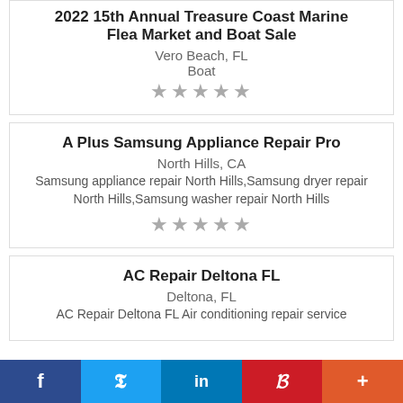2022 15th Annual Treasure Coast Marine Flea Market and Boat Sale
Vero Beach, FL
Boat
★★★★★
A Plus Samsung Appliance Repair Pro
North Hills, CA
Samsung appliance repair North Hills,Samsung dryer repair North Hills,Samsung washer repair North Hills
★★★★★
AC Repair Deltona FL
Deltona, FL
AC Repair Deltona FL Air conditioning repair service
f  Twitter  in  P  +